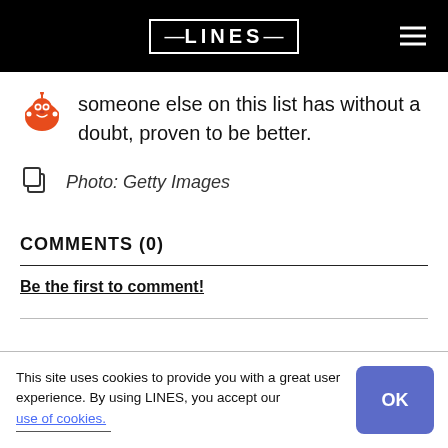LINES
someone else on this list has without a doubt, proven to be better.
Photo: Getty Images
COMMENTS (0)
Be the first to comment!
This site uses cookies to provide you with a great user experience. By using LINES, you accept our use of cookies.